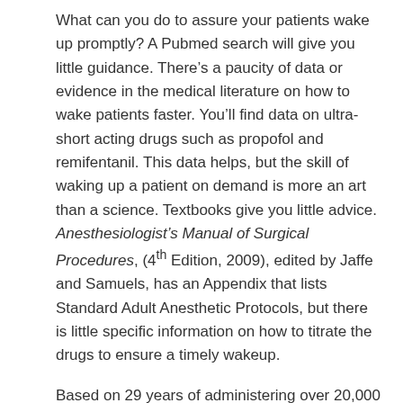What can you do to assure your patients wake up promptly? A Pubmed search will give you little guidance. There's a paucity of data or evidence in the medical literature on how to wake patients faster. You'll find data on ultra-short acting drugs such as propofol and remifentanil. This data helps, but the skill of waking up a patient on demand is more an art than a science. Textbooks give you little advice. Anesthesiologist's Manual of Surgical Procedures, (4th Edition, 2009), edited by Jaffe and Samuels, has an Appendix that lists Standard Adult Anesthetic Protocols, but there is little specific information on how to titrate the drugs to ensure a timely wakeup.
Based on 29 years of administering over 20,000 anesthetics, this is my advice on how to wake patients promptly from general anesthesia: